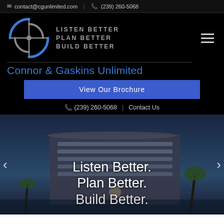contact@cgunlimited.com  |  (239) 260-5068
[Figure (logo): CGU circular crosshair logo in blue and grey on black background]
LISTEN BETTER
PLAN BETTER
BUILD BETTER
Connor & Gaskins Unlimited
View Our Brochure
(239) 260-5068  |  Contact Us
[Figure (photo): Twilight photo of a modern multi-story building with palm trees, overlaid with text 'Listen Better. Plan Better. Build Better.']
Listen Better.
Plan Better.
Build Better.